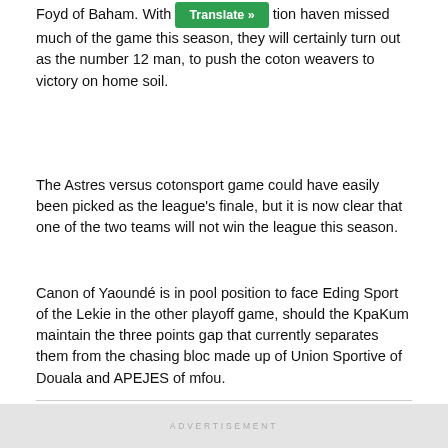Foyd of Baham. With [Translate button] tion haven missed much of the game this season, they will certainly turn out as the number 12 man, to push the coton weavers to victory on home soil.
The Astres versus cotonsport game could have easily been picked as the league's finale, but it is now clear that one of the two teams will not win the league this season.
Canon of Yaoundé is in pool position to face Eding Sport of the Lekie in the other playoff game, should the KpaKum maintain the three points gap that currently separates them from the chasing bloc made up of Union Sportive of Douala and APEJES of mfou.
Copyright©2022 kick442.com
ADVERTISEMENT